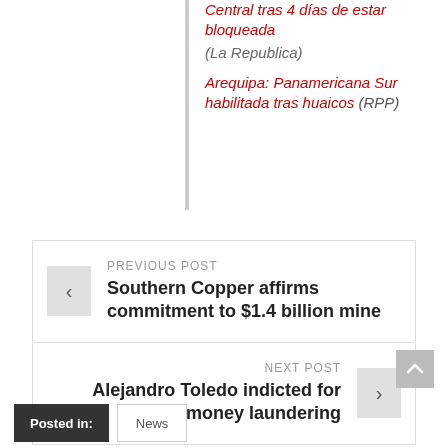Central tras 4 días de estar bloqueada (La Republica)
Arequipa: Panamericana Sur habilitada tras huaicos (RPP)
PREVIOUS POST
Southern Copper affirms commitment to $1.4 billion mine
NEXT POST
Alejandro Toledo indicted for money laundering
Posted in:
News